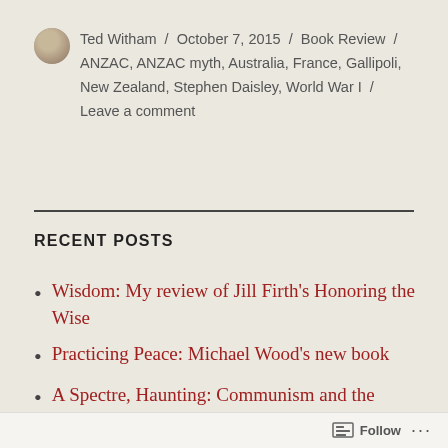Ted Witham / October 7, 2015 / Book Review / ANZAC, ANZAC myth, Australia, France, Gallipoli, New Zealand, Stephen Daisley, World War I / Leave a comment
RECENT POSTS
Wisdom: My review of Jill Firth's Honoring the Wise
Practicing Peace: Michael Wood's new book
A Spectre, Haunting: Communism and the Christian today
Follow ...